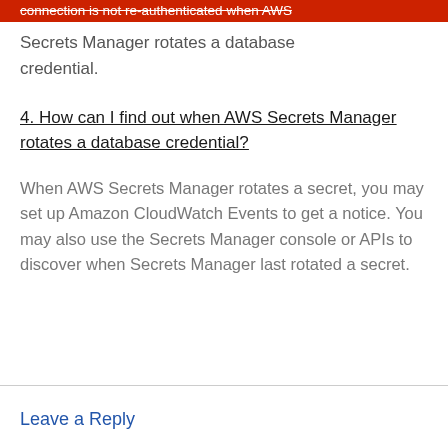connection is not re-authenticated when AWS Secrets Manager rotates a database credential.
4. How can I find out when AWS Secrets Manager rotates a database credential?
When AWS Secrets Manager rotates a secret, you may set up Amazon CloudWatch Events to get a notice. You may also use the Secrets Manager console or APIs to discover when Secrets Manager last rotated a secret.
Leave a Reply